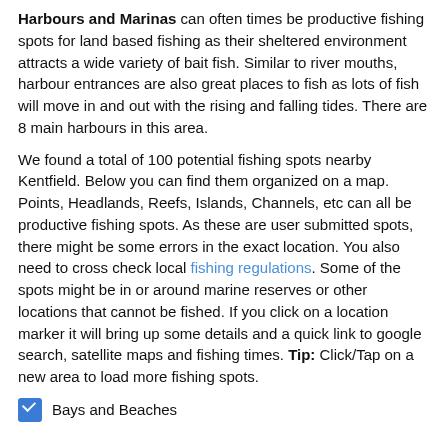Harbours and Marinas can often times be productive fishing spots for land based fishing as their sheltered environment attracts a wide variety of bait fish. Similar to river mouths, harbour entrances are also great places to fish as lots of fish will move in and out with the rising and falling tides. There are 8 main harbours in this area.
We found a total of 100 potential fishing spots nearby Kentfield. Below you can find them organized on a map. Points, Headlands, Reefs, Islands, Channels, etc can all be productive fishing spots. As these are user submitted spots, there might be some errors in the exact location. You also need to cross check local fishing regulations. Some of the spots might be in or around marine reserves or other locations that cannot be fished. If you click on a location marker it will bring up some details and a quick link to google search, satellite maps and fishing times. Tip: Click/Tap on a new area to load more fishing spots.
Bays and Beaches